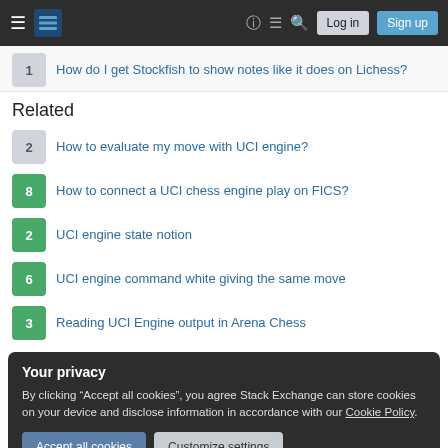Navigation bar with hamburger menu, Stack Exchange logo, help, chat, search, Log in, Sign up
1 - How do I get Stockfish to show notes like it does on Lichess?
Related
2 - How to evaluate my move with UCI engine?
8 - How to connect a UCI chess engine play on FICS?
2 - UCI engine state notion
6 - UCI engine command white giving the same move
3 - Reading UCI Engine output in Arena Chess
Your privacy
By clicking "Accept all cookies", you agree Stack Exchange can store cookies on your device and disclose information in accordance with our Cookie Policy.
Accept all cookies | Customize settings
Hot Network Questions